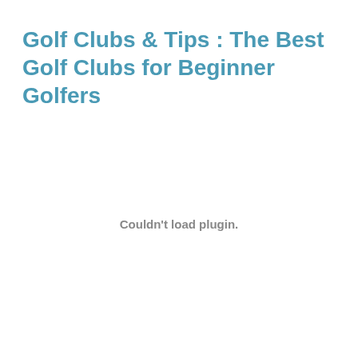Golf Clubs & Tips : The Best Golf Clubs for Beginner Golfers
Couldn't load plugin.